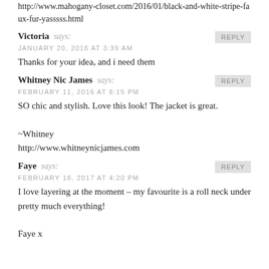http://www.mahogany-closet.com/2016/01/black-and-white-stripe-faux-fur-yasssss.html
Victoria says:
JANUARY 20, 2016 AT 3:39 AM
Thanks for your idea, and i need them
Whitney Nic James says:
FEBRUARY 11, 2016 AT 8:15 PM
SO chic and stylish. Love this look! The jacket is great.

~Whitney
http://www.whitneynicjames.com
Faye says:
FEBRUARY 18, 2017 AT 4:20 PM
I love layering at the moment – my favourite is a roll neck under pretty much everything!

Faye x